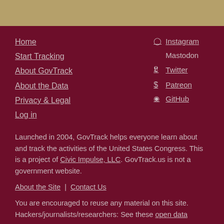Home
Start Tracking
About GovTrack
About the Data
Privacy & Legal
Log in
Instagram
Mastodon
Twitter
Patreon
GitHub
Launched in 2004, GovTrack helps everyone learn about and track the activities of the United States Congress. This is a project of Civic Impulse, LLC. GovTrack.us is not a government website.
About the Site | Contact Us
You are encouraged to reuse any material on this site. Hackers/journalists/researchers: See these open data sources.